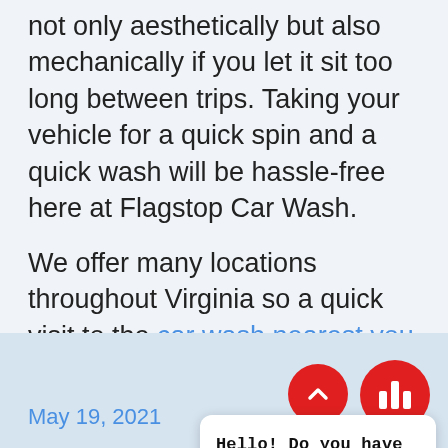not only aesthetically but also mechanically if you let it sit too long between trips. Taking your vehicle for a quick spin and a quick wash will be hassle-free here at Flagstop Car Wash.
We offer many locations throughout Virginia so a quick visit to the car wash nearest you won't even be an inconvenience. Our RVA Wash Club means you'll have unlimited washes to help keep your car clean throughout the entire year. We hope to see you soon. Friendly, affordable services that are budget-friendly, and convenient are what we are all about.
[Figure (screenshot): Chat widget overlay with close button and message: 'Hello! Do you have any questions that I can help with?']
May 19, 2021